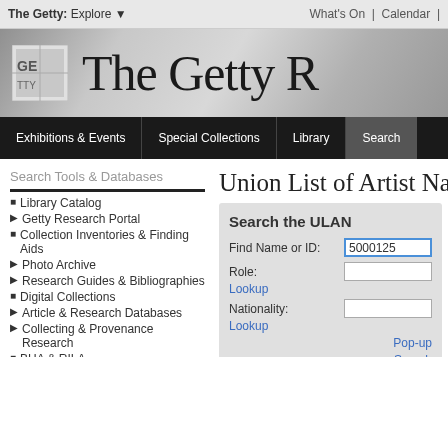The Getty: Explore ▼   What's On | Calendar |
[Figure (screenshot): The Getty Research Institute header banner with logo and site title text 'The Getty R[esearch Institute]' on a gray gradient background]
Exhibitions & Events | Special Collections | Library | Search
Search Tools & Databases
Library Catalog
Getty Research Portal
Collection Inventories & Finding Aids
Photo Archive
Research Guides & Bibliographies
Digital Collections
Article & Research Databases
Collecting & Provenance Research
BHA & RILA
Getty Vocabularies
Art & Architecture Thesaurus (AAT) ®
Union List of Artist Na[mes]
Search the ULAN
Find Name or ID: 5000125[...]
Role: Lookup
Nationality: Lookup
Pop-up Search
Copyright information